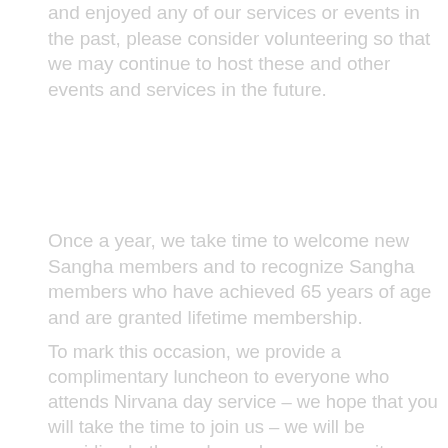and enjoyed any of our services or events in the past, please consider volunteering so that we may continue to host these and other events and services in the future.
Once a year, we take time to welcome new Sangha members and to recognize Sangha members who have achieved 65 years of age and are granted lifetime membership.
To mark this occasion, we provide a complimentary luncheon to everyone who attends Nirvana day service – we hope that you will take the time to join us – we will be providing both regular and vegan menu items.
In Gassho,
Cary Kataoka, President